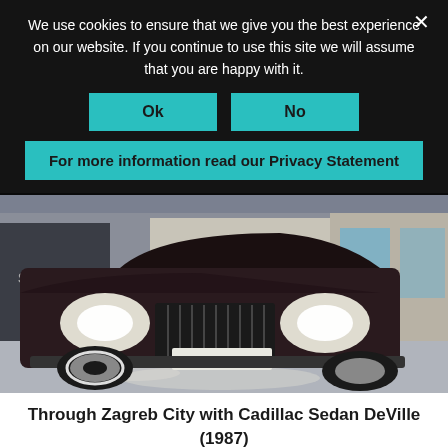We use cookies to ensure that we give you the best experience on our website. If you continue to use this site we will assume that you are happy with it.
Ok
No
For more information read our Privacy Statement
[Figure (photo): A dark classic Cadillac Sedan DeVille (1987) driving through Zagreb city streets with headlights on, license plate ZG PV 4500, photographed from the front at street level.]
Through Zagreb City with Cadillac Sedan DeVille (1987)
190.00 € – 600.00 €